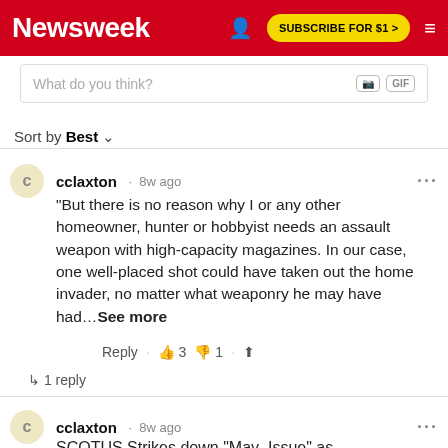Newsweek | SUBSCRIBE FOR $1 >
What do you think?
Sort by Best
cclaxton · 8w ago
"But there is no reason why I or any other homeowner, hunter or hobbyist needs an assault weapon with high-capacity magazines. In our case, one well-placed shot could have taken out the home invader, no matter what weaponry he may have had...See more
Reply · 👍 3 👎 1 · Share
↳ 1 reply
cclaxton · 8w ago
SCOTUS Strikes down "May Issue" as unconstitutional